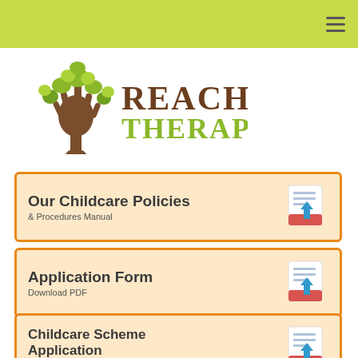[Figure (logo): Reach Therapy logo with tree illustration and text REACH THERAPY]
Our Childcare Policies
& Procedures Manual
Application Form
Download PDF
Childcare Scheme Application
Download PDF